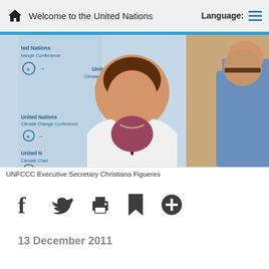Welcome to the United Nations
[Figure (photo): UNFCCC Executive Secretary Christiana Figueres speaking at a United Nations Climate Change Conference, wearing white blazer with microphone, UN branding visible in background]
UNFCCC Executive Secretary Christiana Figueres
Social sharing icons: Facebook, Twitter, Print, Bookmark, Add
13 December 2011